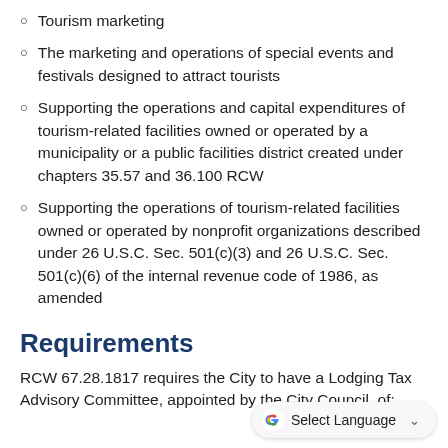Tourism marketing
The marketing and operations of special events and festivals designed to attract tourists
Supporting the operations and capital expenditures of tourism-related facilities owned or operated by a municipality or a public facilities district created under chapters 35.57 and 36.100 RCW
Supporting the operations of tourism-related facilities owned or operated by nonprofit organizations described under 26 U.S.C. Sec. 501(c)(3) and 26 U.S.C. Sec. 501(c)(6) of the internal revenue code of 1986, as amended
Requirements
RCW 67.28.1817 requires the City to have a Lodging Tax Advisory Committee, appointed by the City Council, of: